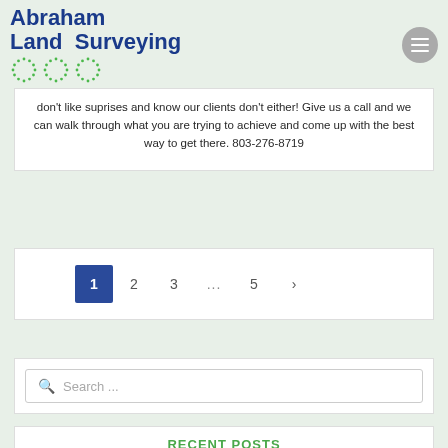[Figure (logo): Abraham Land Surveying logo with company name in blue bold text and decorative green dot-circle icons below]
don't like suprises and know our clients don't either! Give us a call and we can walk through what you are trying to achieve and come up with the best way to get there. 803-276-8719
1  2  3  ...  5  ›
Search ...
RECENT POSTS